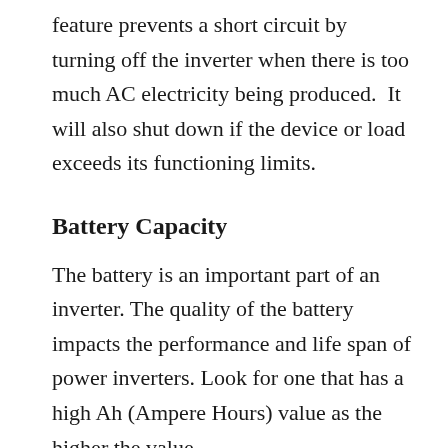feature prevents a short circuit by turning off the inverter when there is too much AC electricity being produced. It will also shut down if the device or load exceeds its functioning limits.
Battery Capacity
The battery is an important part of an inverter. The quality of the battery impacts the performance and life span of power inverters. Look for one that has a high Ah (Ampere Hours) value as the higher the value